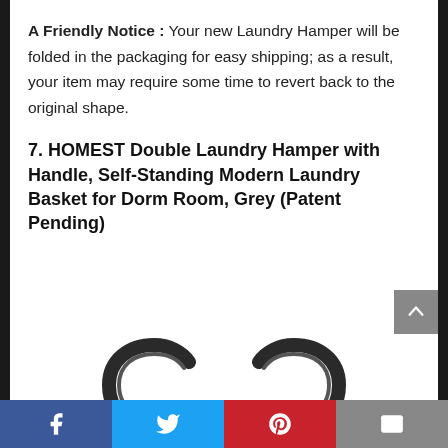A Friendly Notice : Your new Laundry Hamper will be folded in the packaging for easy shipping; as a result, your item may require some time to revert back to the original shape.
7. HOMEST Double Laundry Hamper with Handle, Self-Standing Modern Laundry Basket for Dorm Room, Grey (Patent Pending)
[Figure (photo): Top portion of a grey double laundry hamper with two dark handles, shown on a white background.]
Social share bar with Facebook, Twitter, Pinterest, and Email buttons